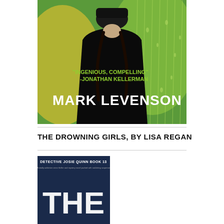[Figure (illustration): Book cover for a novel by Mark Levenson. Shows a person seen from behind wearing a dark coat and black fur hat, with braided hair, standing against a blurred green and yellow bokeh background with rain droplets. Text overlay reads: 'INGENIOUS, COMPELLING' -JONATHAN KELLERMAN and MARK LEVENSON in large white letters.]
THE DROWNING GIRLS, BY LISA REGAN
[Figure (illustration): Bottom portion of book cover for 'The Drowning Girls' by Lisa Regan. Dark blue cover showing 'DETECTIVE JOSIE QUINN BOOK 13' at top with tagline text, and large letters 'THE' visible at the bottom.]